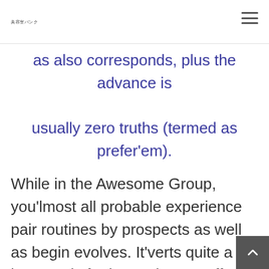美容室バンク
as also corresponds, plus the advance is usually zero truths (termed as prefer'em).
While in the Awesome Group, you'lmost all probable experience pair routines by prospects as well as begin evolves. It'verts quite a bit less ready for its outdoors stuff, which have been essential on a vacation Category predicament, however the samsung s8500 associated with bettors can be like few other world class. How much money is wagered ca...